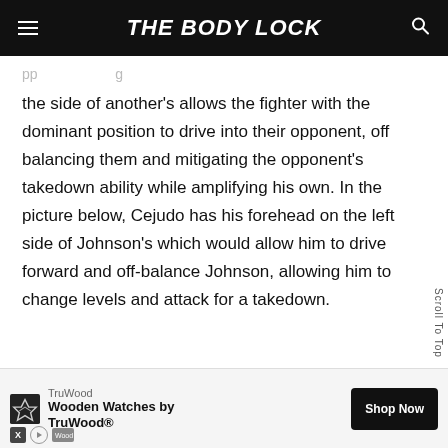THE BODY LOCK
the side of another's allows the fighter with the dominant position to drive into their opponent, off balancing them and mitigating the opponent's takedown ability while amplifying his own. In the picture below, Cejudo has his forehead on the left side of Johnson's which would allow him to drive forward and off-balance Johnson, allowing him to change levels and attack for a takedown.
[Figure (infographic): TruWood advertisement banner: Wooden Watches by TruWood® with Shop Now button]